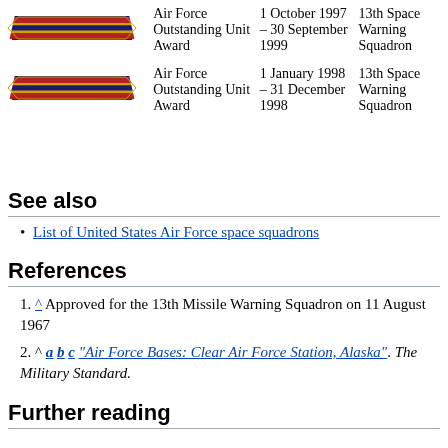| Ribbon | Award Name | Date | Unit |
| --- | --- | --- | --- |
| [ribbon] | Air Force Outstanding Unit Award | 1 October 1997 – 30 September 1999 | 13th Space Warning Squadron |
| [ribbon] | Air Force Outstanding Unit Award | 1 January 1998 – 31 December 1998 | 13th Space Warning Squadron |
See also
List of United States Air Force space squadrons
References
^ Approved for the 13th Missile Warning Squadron on 11 August 1967
^ a b c "Air Force Bases: Clear Air Force Station, Alaska". The Military Standard.
Further reading